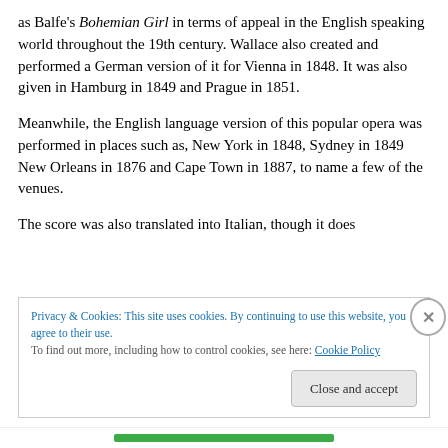as Balfe's Bohemian Girl in terms of appeal in the English speaking world throughout the 19th century.  Wallace also created and performed a German version of it for Vienna in 1848. It was also given in Hamburg in 1849 and Prague in 1851.
Meanwhile, the English language version of this popular opera was performed in places such as, New York in 1848, Sydney in 1849 New Orleans in 1876 and Cape Town in 1887, to name a few of the venues.
The score was also translated into Italian, though it does
Privacy & Cookies: This site uses cookies. By continuing to use this website, you agree to their use.
To find out more, including how to control cookies, see here: Cookie Policy
Close and accept